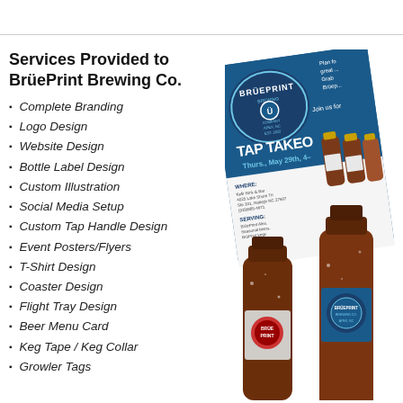Services Provided to BrüePrint Brewing Co.
Complete Branding
Logo Design
Website Design
Bottle Label Design
Custom Illustration
Social Media Setup
Custom Tap Handle Design
Event Posters/Flyers
T-Shirt Design
Coaster Design
Flight Tray Design
Beer Menu Card
Keg Tape / Keg Collar
Growler Tags
[Figure (illustration): BrüePrint Brewing Co. promotional flyer showing a Tap Takeover event on Thurs. May 29th, with beer bottles in foreground and event details including WHERE and SERVING sections. Blue and white color scheme with the BrüePrint logo.]